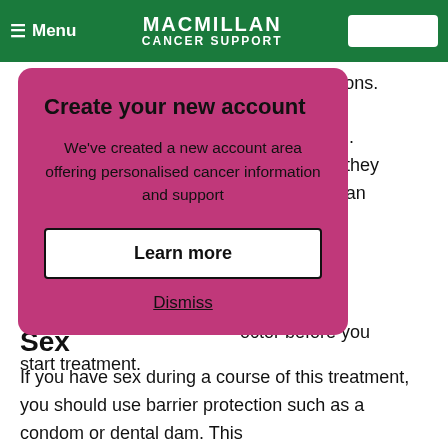Menu | MACMILLAN CANCER SUPPORT
have these, as they are not live vaccinations.
[Figure (screenshot): Modal popup with pink/magenta background. Title: 'Create your new account'. Body text: 'We've created a new account area offering personalised cancer information and support'. Button: 'Learn more'. Link: 'Dismiss'.]
to avoid live vaccinations, as they can make you unwell. They cause a mild form of the illness they protect against. Your doctor or GP can advise you about live vaccinations. Some vaccinations can get ... If you are worried ... doctor before you start treatment.
Sex
If you have sex during a course of this treatment, you should use barrier protection such as a condom or dental dam. This